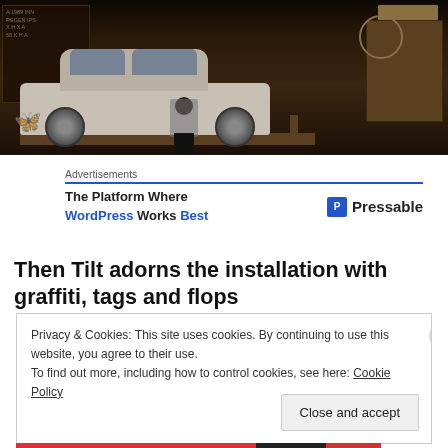[Figure (photo): Street scene with a white vintage car and a person standing with their back to the camera in a dark urban setting. A butterfly watermark is visible in the lower left.]
Advertisements
The Platform Where WordPress Works Best   P Pressable
Then Tilt adorns the installation with graffiti, tags and flops
Privacy & Cookies: This site uses cookies. By continuing to use this website, you agree to their use.
To find out more, including how to control cookies, see here: Cookie Policy
Close and accept